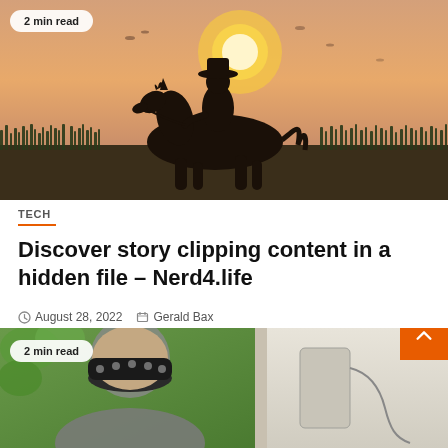[Figure (photo): Silhouette of a cowboy riding a horse at sunset with golden sky and grass in the background, resembling a Red Dead Redemption screenshot]
2 min read
TECH
Discover story clipping content in a hidden file – Nerd4.life
August 28, 2022   Gerald Bax
[Figure (photo): Person wearing a black bandana headband with white designs, partially visible, photographed indoors near a window]
2 min read